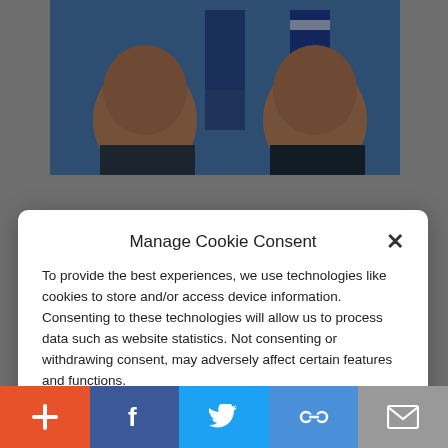[Figure (photo): Two men in suits facing each other with national flags in the background (blue/white flags)]
[Figure (screenshot): Cookie consent modal dialog over a news website. Title: Manage Cookie Consent. Text about cookie usage. Accept button. Links to Cookie Policy and Privacy Policy.]
Manage Cookie Consent
To provide the best experiences, we use technologies like cookies to store and/or access device information. Consenting to these technologies will allow us to process data such as website statistics. Not consenting or withdrawing consent, may adversely affect certain features and functions.
Accept
Cookie Policy  Privacy Policy
[Figure (photo): Partial photo of a man's face at the bottom of the page behind the modal]
[Figure (infographic): Social sharing bar with icons: plus (+), Facebook (f), Twitter (bird), share (chain links), email (envelope)]